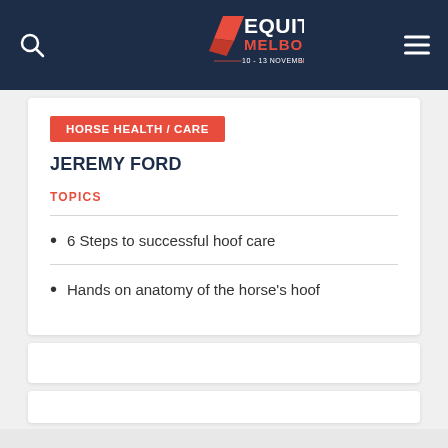EQUITANA MELBOURNE 10 - 13 NOVEMBER 2022
HORSE HEALTH / CARE
JEREMY FORD
TOPICS
6 Steps to successful hoof care
Hands on anatomy of the horse's hoof